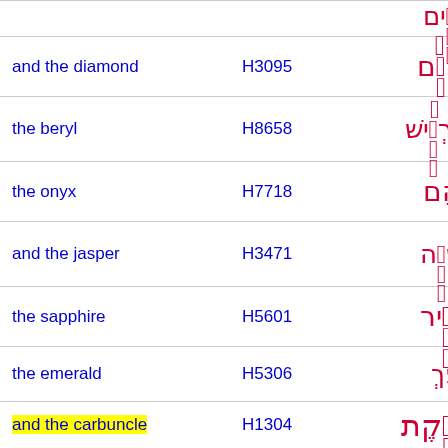| English | Strongs | Hebrew |
| --- | --- | --- |
| (partial - top cut off) |  |  |
| and the diamond | H3095 | יַהֲלֹם |
| the beryl | H8658 | תַּרְשִׁישׁ |
| the onyx | H7718 | שֹׁהַם |
| and the jasper | H3471 | יָשְׁפֵה |
| the sapphire | H5601 | סַפִּיר |
| the emerald | H5306 | נֹפֶךְ |
| and the carbuncle | H1304 | בָּרֶקֶת |